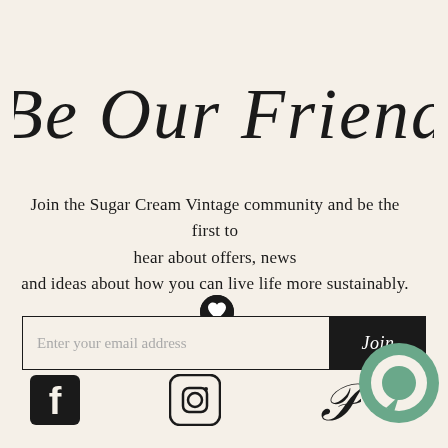Be Our Friend
Join the Sugar Cream Vintage community and be the first to hear about offers, news and ideas about how you can live life more sustainably.
[Figure (other): Email signup form with input field placeholder 'Enter your email address' and black 'Join' button]
[Figure (other): Social media icons: Facebook, Instagram, Pinterest]